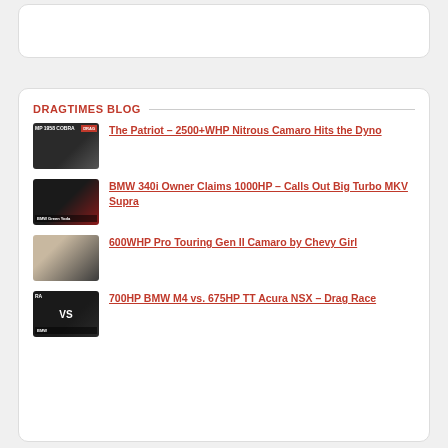DRAGTIMES BLOG
The Patriot – 2500+WHP Nitrous Camaro Hits the Dyno
BMW 340i Owner Claims 1000HP – Calls Out Big Turbo MKV Supra
600WHP Pro Touring Gen II Camaro by Chevy Girl
700HP BMW M4 vs. 675HP TT Acura NSX – Drag Race